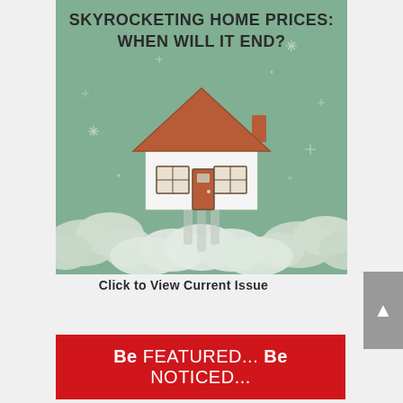[Figure (illustration): Illustration of a house floating/rocket-launching into the sky on a teal/sage green background with cloud puffs and sparkle stars. The house has a terracotta/brown roof, white walls, a brown front door, and two windows. Rocket exhaust trails appear beneath the house. Title text on the image reads: SKYROCKETING HOME PRICES: WHEN WILL IT END?]
Click to View Current Issue
Be FEATURED... Be NOTICED...